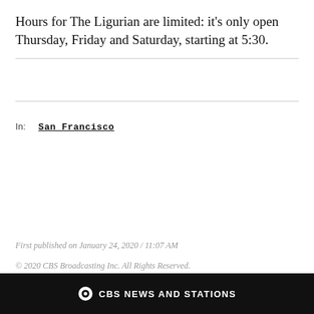Hours for The Ligurian are limited: it's only open Thursday, Friday and Saturday, starting at 5:30.
In: San Francisco
First published on January 24, 2020 / 11:07 AM
© 2020 CBS Broadcasting Inc. All Rights Reserved.
©CBS NEWS AND STATIONS